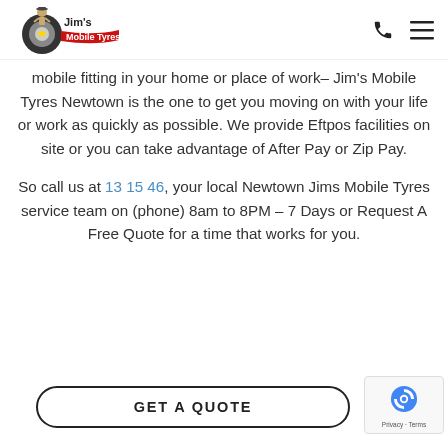[Figure (logo): Jim's Mobile Tyres logo with cartoon figure, tire graphic, and red banner text]
mobile fitting in your home or place of work– Jim's Mobile Tyres Newtown is the one to get you moving on with your life or work as quickly as possible. We provide Eftpos facilities on site or you can take advantage of After Pay or Zip Pay.
So call us at 13 15 46, your local Newtown Jims Mobile Tyres service team on (phone) 8am to 8PM – 7 Days or Request A Free Quote for a time that works for you.
GET A QUOTE